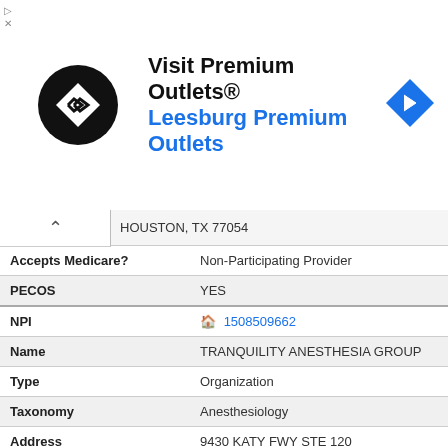[Figure (advertisement): Premium Outlets advertisement banner with circular black logo, text 'Visit Premium Outlets® Leesburg Premium Outlets', and blue navigation diamond icon]
|  | HOUSTON, TX 77054 |
| Accepts Medicare? | Non-Participating Provider |
| PECOS | YES |
| NPI | 🏠 1508509662 |
| Name | TRANQUILITY ANESTHESIA GROUP |
| Type | Organization |
| Taxonomy | Anesthesiology |
| Address | 9430 KATY FWY STE 120
HOUSTON, TX 77055 |
| Accepts Medicare? | Non-Participating Provider |
| PECOS | NO |
| NPI | 👤 1285622159 |
| Name | ARABA QUANSAH |
| Type | Individual |
| Taxonomy | Anesthesiology |